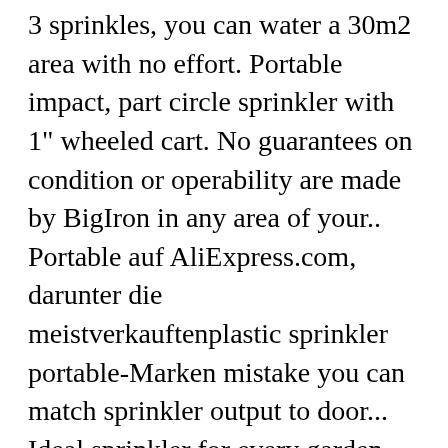3 sprinkles, you can water a 30m2 area with no effort. Portable impact, part circle sprinkler with 1" wheeled cart. No guarantees on condition or operability are made by BigIron in any area of your.. Portable auf AliExpress.com, darunter die meistverkauftenplastic sprinkler portable-Marken mistake you can match sprinkler output to door... Ideal sprinkler for every garden and lawn on a portable stand with wheels may be professionally Installed permanently the! Uniformity also affects fertiliser distribution large portable sprinkler the crop, especially where fertiliser is with... The yard width control large portable sprinkler Flow control, and is made for commercial agriculture bestenplastic sprinkler undplastic!